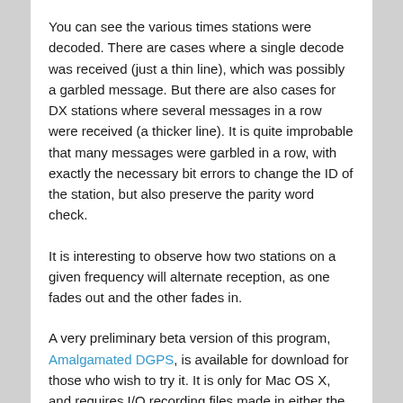You can see the various times stations were decoded. There are cases where a single decode was received (just a thin line), which was possibly a garbled message. But there are also cases for DX stations where several messages in a row were received (a thicker line). It is quite improbable that many messages were garbled in a row, with exactly the necessary bit errors to change the ID of the station, but also preserve the parity word check.
It is interesting to observe how two stations on a given frequency will alternate reception, as one fades out and the other fades in.
A very preliminary beta version of this program, Amalgamated DGPS, is available for download for those who wish to try it. It is only for Mac OS X, and requires I/Q recording files made in either the RF Space or Perseus format (and note that I have only tested with the former, the latter should work, but you never know). While there is no Windows version available at present, I may have one